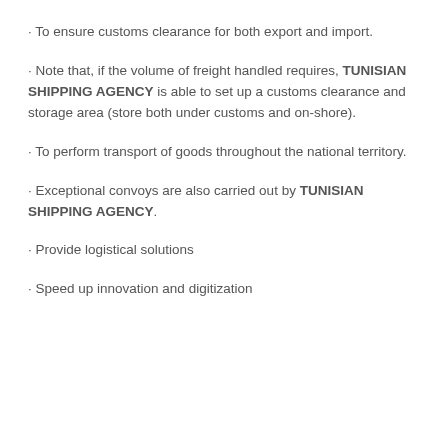To ensure customs clearance for both export and import.
Note that, if the volume of freight handled requires, TUNISIAN SHIPPING AGENCY is able to set up a customs clearance and storage area (store both under customs and on-shore).
To perform transport of goods throughout the national territory.
Exceptional convoys are also carried out by TUNISIAN SHIPPING AGENCY.
Provide logistical solutions
Speed up innovation and digitization